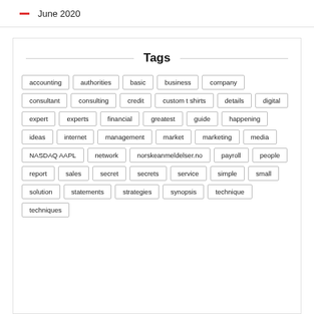June 2020
Tags
accounting
authorities
basic
business
company
consultant
consulting
credit
custom t shirts
details
digital
expert
experts
financial
greatest
guide
happening
ideas
internet
management
market
marketing
media
NASDAQ AAPL
network
norskeanmeldelser.no
payroll
people
report
sales
secret
secrets
service
simple
small
solution
statements
strategies
synopsis
technique
techniques